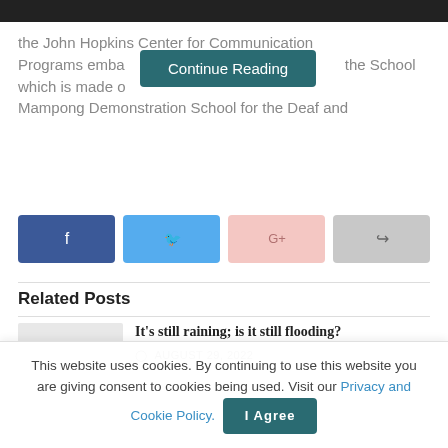the John Hopkins Center for Communication Programs emba... the School which is made o... Mampong Demonstration School for the Deaf and
[Figure (other): Continue Reading button (teal/dark cyan rounded rectangle with white text)]
[Figure (infographic): Social share buttons: Facebook (dark blue), Twitter (light blue), Google+ (pink), Share (gray)]
Related Posts
[Figure (other): Thumbnail placeholder image (light gray rectangle)]
It’s still raining; is it still flooding?
AUGUST 29, 2022
This website uses cookies. By continuing to use this website you are giving consent to cookies being used. Visit our Privacy and Cookie Policy.
[Figure (other): I Agree button (teal rounded rectangle with white text)]